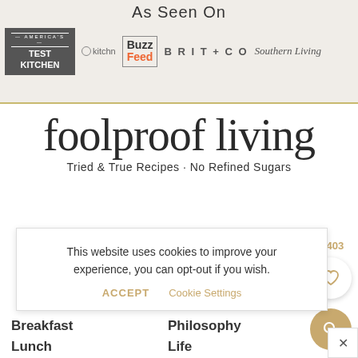As Seen On
[Figure (logo): Row of media brand logos: America's Test Kitchen, kitchn, BuzzFeed, BRIT+CO, Southern Living]
foolproof living
Tried & True Recipes · No Refined Sugars
This website uses cookies to improve your experience, you can opt-out if you wish.
ACCEPT   Cookie Settings
4,403
Breakfast
Philosophy
Lunch
Life
Dinner
Travels